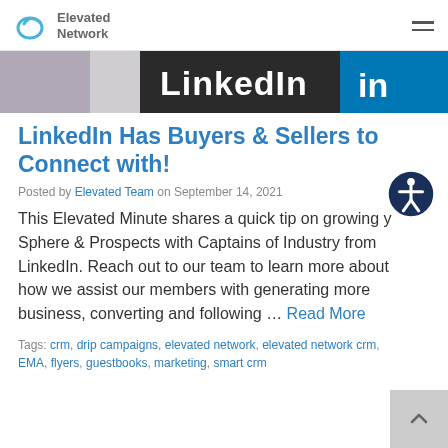Elevated Network
[Figure (screenshot): LinkedIn logo banner image strip showing 'LinkedIn' text in dark and teal/blue colors]
LinkedIn Has Buyers & Sellers to Connect with!
Posted by Elevated Team on September 14, 2021
This Elevated Minute shares a quick tip on growing your Sphere & Prospects with Captains of Industry from LinkedIn. Reach out to our team to learn more about how we assist our members with generating more business, converting and following … Read More
Tags: crm, drip campaigns, elevated network, elevated network crm, EMA, flyers, guestbooks, marketing, smart crm